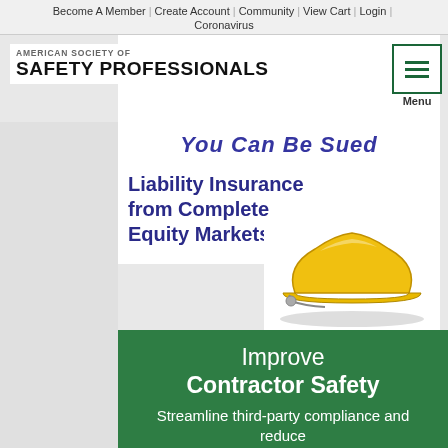Become A Member | Create Account | Community | View Cart | Login | Coronavirus
AMERICAN SOCIETY OF SAFETY PROFESSIONALS
You Can Be Sued
Liability Insurance from Complete Equity Markets, Inc.
[Figure (photo): Yellow hard hat / safety helmet with measuring tape]
Improve Contractor Safety
Streamline third-party compliance and reduce